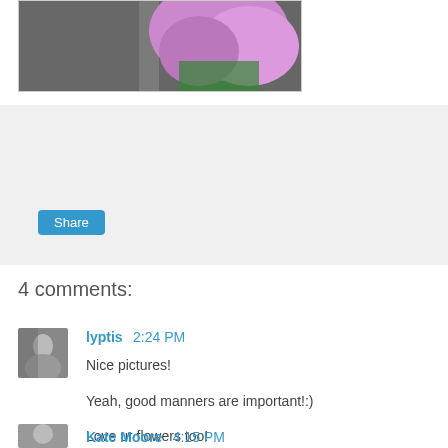[Figure (photo): Partial photo of flowers (pink/purple blooms with green leaves) and a person in the upper portion]
Share
4 comments:
[Figure (photo): Small avatar thumbnail of a person (commenter lyptis)]
lyptis  2:24 PM
Nice pictures!
Yeah, good manners are important!:)
Love ur flowers too!
Reply
[Figure (photo): Small avatar thumbnail of commenter Kate Moore]
Kate Moore  4:15 PM